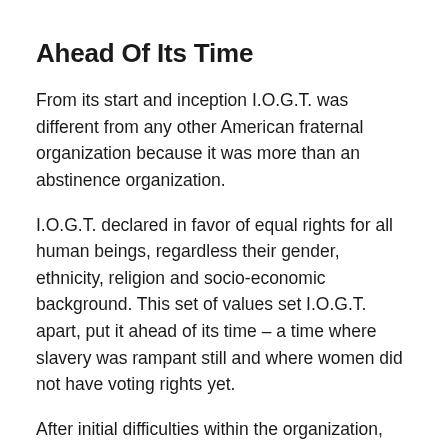Ahead Of Its Time
From its start and inception I.O.G.T. was different from any other American fraternal organization because it was more than an abstinence organization.
I.O.G.T. declared in favor of equal rights for all human beings, regardless their gender, ethnicity, religion and socio-economic background. This set of values set I.O.G.T. apart, put it ahead of its time – a time where slavery was rampant still and where women did not have voting rights yet.
After initial difficulties within the organization, I.O.G.T. witnessed a phenomenal rise both in the USA and in Canada, driven by extraordinary men